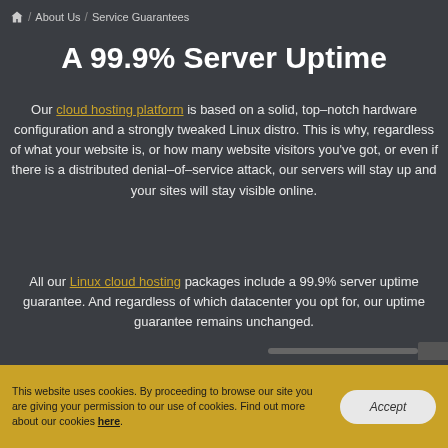🏠 / About Us / Service Guarantees
A 99.9% Server Uptime
Our cloud hosting platform is based on a solid, top–notch hardware configuration and a strongly tweaked Linux distro. This is why, regardless of what your website is, or how many website visitors you've got, or even if there is a distributed denial–of–service attack, our servers will stay up and your sites will stay visible online.
All our Linux cloud hosting packages include a 99.9% server uptime guarantee. And regardless of which datacenter you opt for, our uptime guarantee remains unchanged.
This website uses cookies. By proceeding to browse our site you are giving your permission to our use of cookies. Find out more about our cookies here.